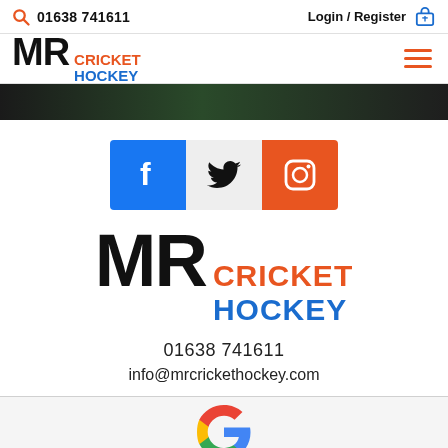01638 741611  Login / Register
[Figure (logo): MR Cricket Hockey logo with hamburger menu icon in navigation bar]
[Figure (photo): Hero banner image showing hockey/cricket scene with dark background]
[Figure (infographic): Social media icons: Facebook (blue), Twitter (grey background), Instagram (orange)]
[Figure (logo): Large MR Cricket Hockey logo - MR in black bold letters, CRICKET in orange, HOCKEY in blue]
01638 741611
info@mrcrickethockey.com
[Figure (logo): Google G logo colored icon with 'review us on Google' text below]